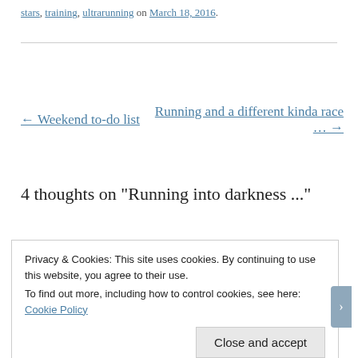stars, training, ultrarunning on March 18, 2016.
← Weekend to-do list
Running and a different kinda race … →
4 thoughts on "Running into darkness ..."
Privacy & Cookies: This site uses cookies. By continuing to use this website, you agree to their use.
To find out more, including how to control cookies, see here: Cookie Policy
Close and accept